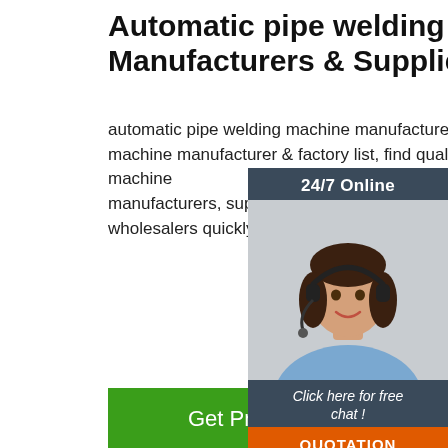Automatic pipe welding machine Manufacturers & Suppliers ...
automatic pipe welding machine manufacturer/supplier, China automatic pipe welding machine manufacturer & factory list, find qualified Chinese automatic pipe welding machine manufacturers, suppliers, factories, exporters & wholesalers quickly on Made-in-China.com
[Figure (screenshot): Chat widget with '24/7 Online' header, a customer service representative photo with headset, 'Click here for free chat!' text and orange QUOTATION button]
[Figure (photo): Industrial automatic pipe welding machine in a factory setting, red and white machinery visible]
Get Price